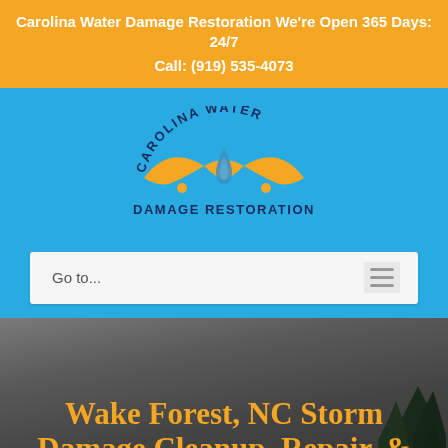Carolina Water Damage Restoration We're Open 365 Days: 24/7
Call: (919) 535-4073
[Figure (logo): Carolina Water Damage Restoration circular logo with orange North Carolina state shape, blue water drop, and arc text reading CAROLINA WATER DAMAGE RESTORATION]
Go to...
Wake Forest, NC Storm Damage Cleanup, Repair, & Restoration